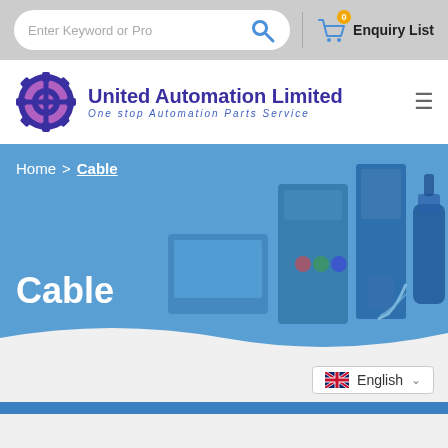Enter Keyword or Pro | Enquiry List
[Figure (logo): United Automation Limited logo with gear icon]
United Automation Limited
One stop Automation Parts Service
[Figure (infographic): Blue hero banner with Mitsubishi automation products (HMI touch panel, VFD drive, servo amplifier, servo motor). Breadcrumb: Home > Cable. Title: Cable.]
Home  >  Cable
Cable
English